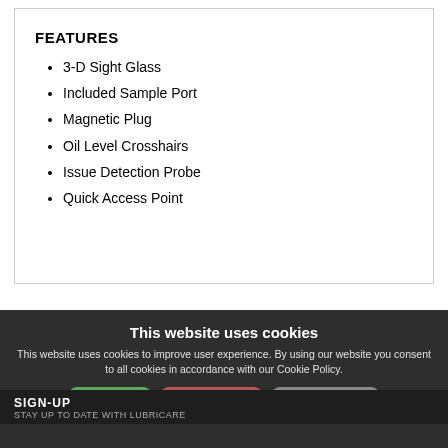FEATURES
3-D Sight Glass
Included Sample Port
Magnetic Plug
Oil Level Crosshairs
Issue Detection Probe
Quick Access Point
This website uses cookies
This website uses cookies to improve user experience. By using our website you consent to all cookies in accordance with our Cookie Policy.
I agree | I disagree | Read more
SIGN-UP
STAY UP TO DATE WITH LUBRICARE